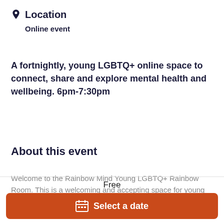Location
Online event
A fortnightly, young LGBTQ+ online space to connect, share and explore mental health and wellbeing. 6pm-7:30pm
About this event
Welcome to the Rainbow Mind Young LGBTQ+ Rainbow Room. This is a welcoming and accepting space for young LBGTQ+ people aged 17-24 to connect, share and explore mental health and
Free
Select a date